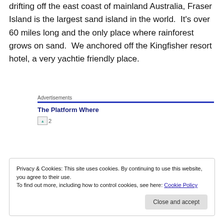drifting off the east coast of mainland Australia, Fraser Island is the largest sand island in the world.  It's over 60 miles long and the only place where rainforest grows on sand.  We anchored off the Kingfisher resort hotel, a very yachtie friendly place.
Advertisements
The Platform Where
[Figure (other): Broken image placeholder labeled '2']
Privacy & Cookies: This site uses cookies. By continuing to use this website, you agree to their use.
To find out more, including how to control cookies, see here: Cookie Policy
Close and accept